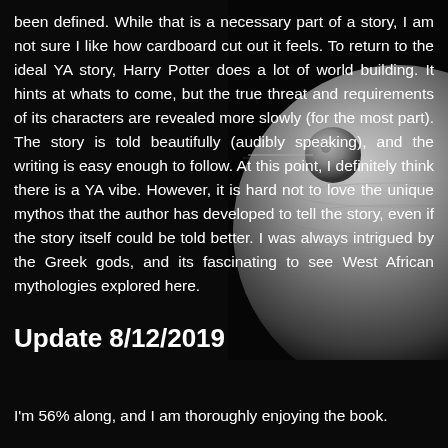been defined. While that is a necessary part of a story, I am not sure I like how cardboard cut out it feels. To return to the ideal YA story, Harry Potter does a lot of world building. It hints at whats to come, but the true threat and requirements of its characters are revealed more slowly (for the most part). The story is told beautifully (audibly speaking), and the writing is easy enough to follow. At this point, I definitely think there is a YA vibe. However, it is hard not to love the unique mythos that the author has developed to tell the story, even if the story itself could be told better. I was always intrigued by the Greek gods, and its fascinating to see West African mythologies explored here.
[Figure (photo): A grayscale image of a planet or moon with a smaller moon/asteroid visible, set against a black background, positioned in the upper right of the page.]
Update 8/12/2019
I'm 56% along, and I am thoroughly enjoying the book.